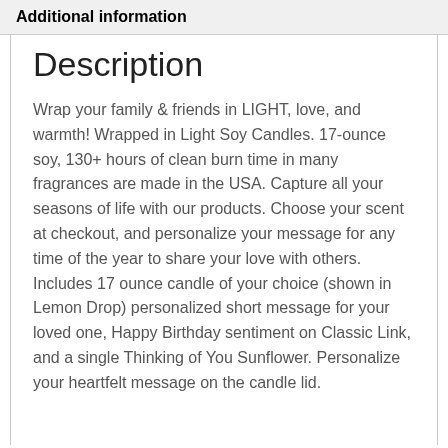Additional information
Description
Wrap your family & friends in LIGHT, love, and warmth! Wrapped in Light Soy Candles. 17-ounce soy, 130+ hours of clean burn time in many fragrances are made in the USA. Capture all your seasons of life with our products. Choose your scent at checkout, and personalize your message for any time of the year to share your love with others. Includes 17 ounce candle of your choice (shown in Lemon Drop) personalized short message for your loved one, Happy Birthday sentiment on Classic Link, and a single Thinking of You Sunflower. Personalize your heartfelt message on the candle lid.